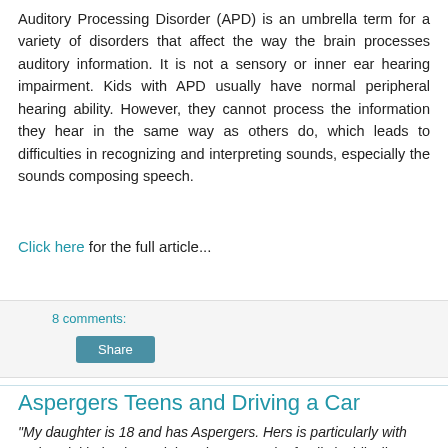Auditory Processing Disorder (APD) is an umbrella term for a variety of disorders that affect the way the brain processes auditory information. It is not a sensory or inner ear hearing impairment. Kids with APD usually have normal peripheral hearing ability. However, they cannot process the information they hear in the same way as others do, which leads to difficulties in recognizing and interpreting sounds, especially the sounds composing speech.
Click here for the full article...
8 comments:
Share
Aspergers Teens and Driving a Car
"My daughter is 18 and has Aspergers. Hers is particularly with anti-social behavior and thoughts. My entire family is ridiculing me for not forcing her to get her drivers license, but she is scared